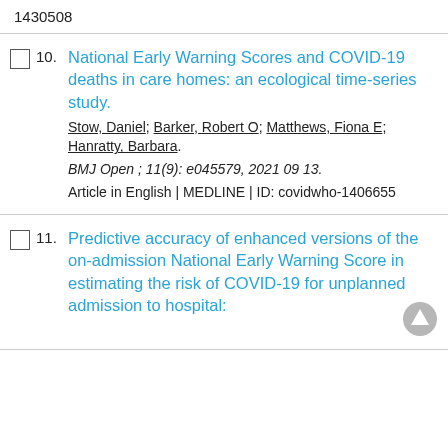1430508
10. National Early Warning Scores and COVID-19 deaths in care homes: an ecological time-series study. Stow, Daniel; Barker, Robert O; Matthews, Fiona E; Hanratty, Barbara. BMJ Open ; 11(9): e045579, 2021 09 13. Article in English | MEDLINE | ID: covidwho-1406655
11. Predictive accuracy of enhanced versions of the on-admission National Early Warning Score in estimating the risk of COVID-19 for unplanned admission to hospital: